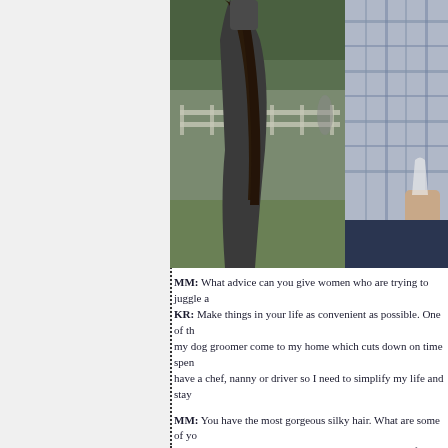[Figure (photo): Two people standing outdoors on grass with trees and a white fence in the background. A woman with long dark hair wearing a dark grey coat is visible from behind/side, and a man in a plaid shirt holding a glass is visible to her right.]
MM: What advice can you give women who are trying to juggle a KR: Make things in your life as convenient as possible. One of th my dog groomer come to my home which cuts down on time spen have a chef, nanny or driver so I need to simplify my life and stay
MM: You have the most gorgeous silky hair. What are some of yo KR: For shampoo and conditioner I like Pantene, and for styling aways in place.